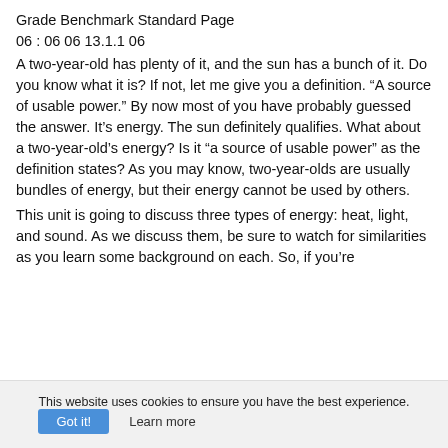Grade Benchmark Standard Page
06 : 06 06 13.1.1 06
A two-year-old has plenty of it, and the sun has a bunch of it. Do you know what it is? If not, let me give you a definition. “A source of usable power.” By now most of you have probably guessed the answer. It’s energy. The sun definitely qualifies. What about a two-year-old’s energy? Is it “a source of usable power” as the definition states? As you may know, two-year-olds are usually bundles of energy, but their energy cannot be used by others.
This unit is going to discuss three types of energy: heat, light, and sound. As we discuss them, be sure to watch for similarities as you learn some background on each. So, if you’re
This website uses cookies to ensure you have the best experience.
Got it!  Learn more